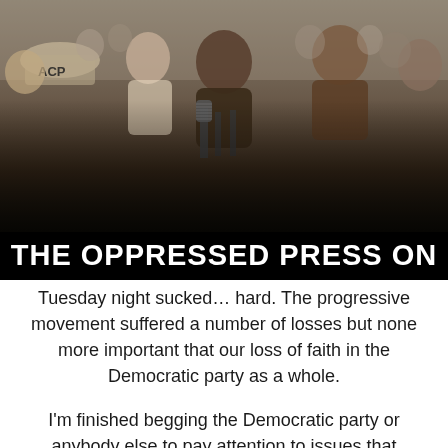[Figure (photo): Black and white photograph of a crowd of people, with a central figure speaking at multiple microphones. An NAACP hat is visible on the left. The image has a historical civil rights era appearance.]
THE OPPRESSED PRESS ON
Tuesday night sucked… hard. The progressive movement suffered a number of losses but none more important that our loss of faith in the Democratic party as a whole.
I'm finished begging the Democratic party or anybody else to pay attention to issues that matter to me and people who look like me, the most important